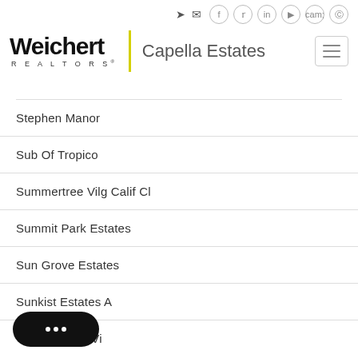Weichert REALTORS Capella Estates
Stephen Manor
Sub Of Tropico
Summertree Vilg Calif Cl
Summit Park Estates
Sun Grove Estates
Sunkist Estates A
bour Sec Vi